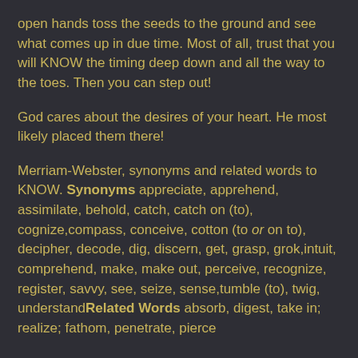open hands toss the seeds to the ground and see what comes up in due time. Most of all, trust that you will KNOW the timing deep down and all the way to the toes. Then you can step out!
God cares about the desires of your heart. He most likely placed them there!
Merriam-Webster, synonyms and related words to KNOW. Synonyms appreciate, apprehend, assimilate, behold, catch, catch on (to), cognize,compass, conceive, cotton (to or on to), decipher, decode, dig, discern, get, grasp, grok,intuit, comprehend, make, make out, perceive, recognize, register, savvy, see, seize, sense,tumble (to), twig, understandRelated Words absorb, digest, take in; realize; fathom, penetrate, pierce